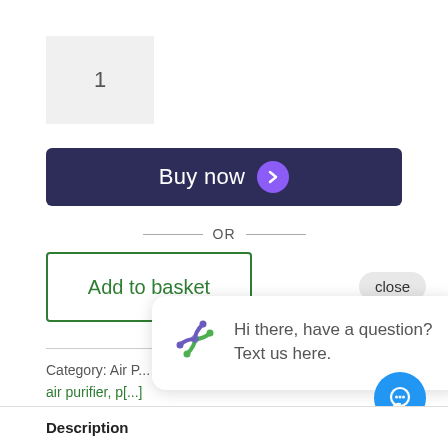[Figure (screenshot): Quantity input box showing number 1]
[Figure (screenshot): Buy now button with purple arrow circle]
— OR —
[Figure (screenshot): Add to basket button with green border]
close
Category: Air [purifier tags] air purifier, p[...] qo1b
[Figure (screenshot): Chat bubble with logo: Hi there, have a question? Text us here.]
[Figure (screenshot): Blue chat FAB button]
Description